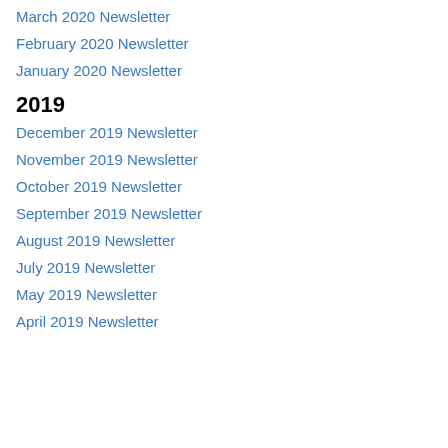March 2020 Newsletter
February 2020 Newsletter
January 2020 Newsletter
2019
December 2019 Newsletter
November 2019 Newsletter
October 2019 Newsletter
September 2019 Newsletter
August 2019 Newsletter
July 2019 Newsletter
May 2019 Newsletter
April 2019 Newsletter